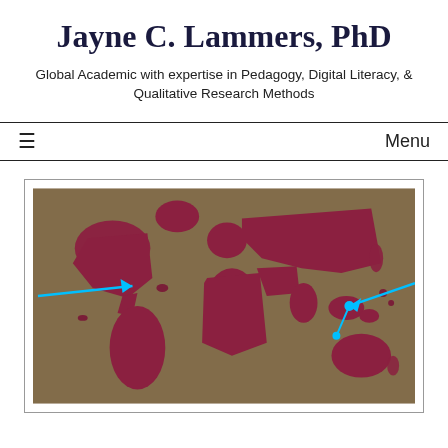Jayne C. Lammers, PhD
Global Academic with expertise in Pedagogy, Digital Literacy, & Qualitative Research Methods
≡   Menu
[Figure (illustration): A stylized 3D world map with dark red/crimson continents on a brown background, with two cyan/light blue arrows pointing to locations — one pointing to North America and one connecting Asia/Pacific regions.]